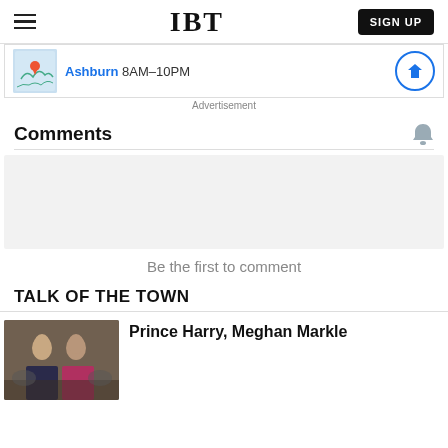IBT | SIGN UP
[Figure (screenshot): Ad banner showing a map with location pin, Ashburn 8AM-10PM text, and a diamond icon circle]
Advertisement
Comments
[Figure (screenshot): Light gray comment input box area]
Be the first to comment
TALK OF THE TOWN
[Figure (photo): Photo of Prince Harry and Meghan Markle]
Prince Harry, Meghan Markle